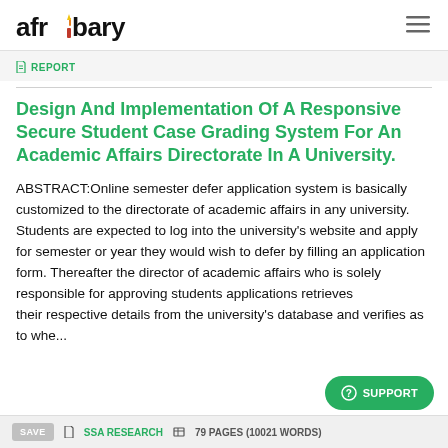afribary
REPORT
Design And Implementation Of A Responsive Secure Student Case Grading System For An Academic Affairs Directorate In A University.
ABSTRACT:Online semester defer application system is basically customized to the directorate of academic affairs in any university. Students are expected to log into the university's website and apply for semester or year they would wish to defer by filling an application form. Thereafter the director of academic affairs who is solely responsible for approving students applications retrieves their respective details from the university's database and verifies as to whe...
SAVE   SSA RESEARCH   79 PAGES (10021 WORDS)